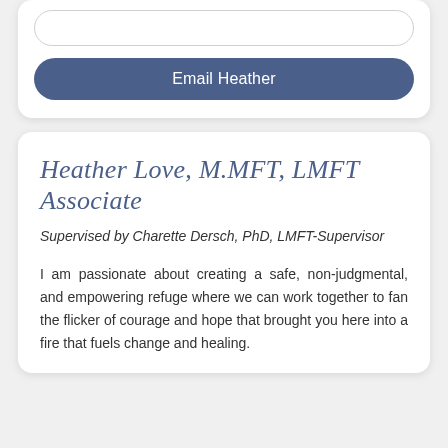[Figure (screenshot): Input text field with rounded border at top of card]
Email Heather
Heather Love, M.MFT, LMFT Associate
Supervised by Charette Dersch, PhD, LMFT-Supervisor
I am passionate about creating a safe, non-judgmental, and empowering refuge where we can work together to fan the flicker of courage and hope that brought you here into a fire that fuels change and healing.